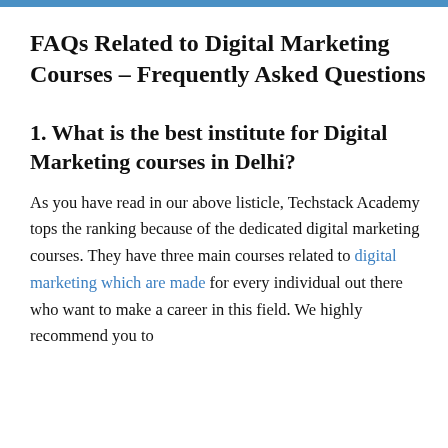FAQs Related to Digital Marketing Courses – Frequently Asked Questions
1. What is the best institute for Digital Marketing courses in Delhi?
As you have read in our above listicle, Techstack Academy tops the ranking because of the dedicated digital marketing courses. They have three main courses related to digital marketing which are made for every individual out there who want to make a career in this field. We highly recommend you to enrolling one of the courses under their institute and